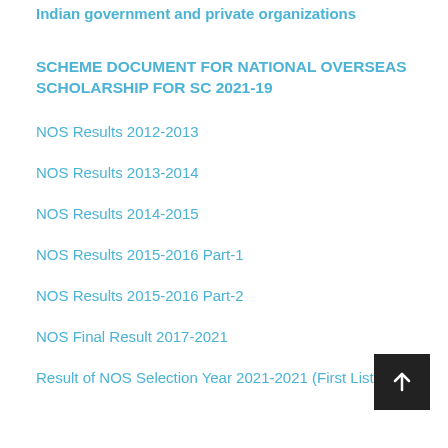Indian government and private organizations
SCHEME DOCUMENT FOR NATIONAL OVERSEAS SCHOLARSHIP FOR SC 2021-19
NOS Results 2012-2013
NOS Results 2013-2014
NOS Results 2014-2015
NOS Results 2015-2016 Part-1
NOS Results 2015-2016 Part-2
NOS Final Result 2017-2021
Result of NOS Selection Year 2021-2021 (First List)